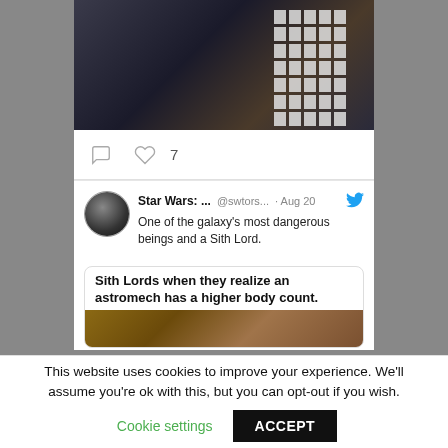[Figure (screenshot): Screenshot of a Twitter/social media feed showing a movie still image (dark scene with characters) at the top, followed by interaction icons (comment and 7 likes), then a tweet by 'Star Wars: ...' (@swtors... · Aug 20) saying 'One of the galaxy's most dangerous beings and a Sith Lord.' followed by an embedded meme card with text 'Sith Lords when they realize an astromech has a higher body count.' and a movie still image below it.]
This website uses cookies to improve your experience. We'll assume you're ok with this, but you can opt-out if you wish.
Cookie settings
ACCEPT